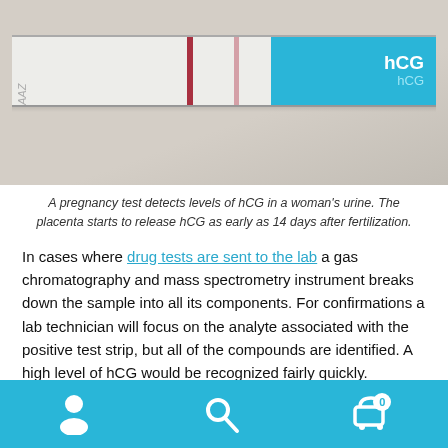[Figure (photo): A pregnancy test strip showing two red/pink lines on a white background, with a blue section on the right labeled hCG.]
A pregnancy test detects levels of hCG in a woman's urine. The placenta starts to release hCG as early as 14 days after fertilization.
In cases where drug tests are sent to the lab a gas chromatography and mass spectrometry instrument breaks down the sample into all its components. For confirmations a lab technician will focus on the analyte associated with the positive test strip, but all of the compounds are identified. A high level of hCG would be recognized fairly quickly.
So it is true that drug testing would identify pregnancy in cases when providers test for pregnancy or samples are sent to a lab. The assays found in drug test cups and used in laboratory